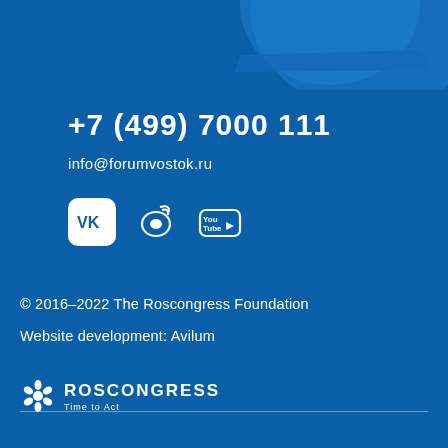[Figure (illustration): Decorative blue arc/wave design at top with lighter blue geometric shapes]
+7 (499) 7000 111
info@forumvostok.ru
[Figure (logo): Social media icons: VK (white rounded square icon), Weibo, YouTube]
© 2016–2022 The Roscongress Foundation
Website development: Avilum
[Figure (logo): Roscongress logo with flower/snowflake icon and text: ROSCONGRESS / Time to Act]